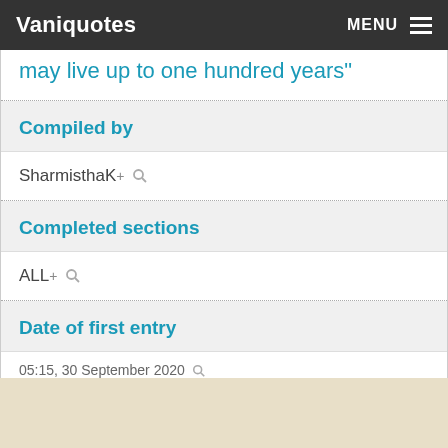Vaniquotes MENU
…may live up to one hundred years"
Compiled by
SharmisthaK
Completed sections
ALL
Date of first entry
05:15, 30 September 2020